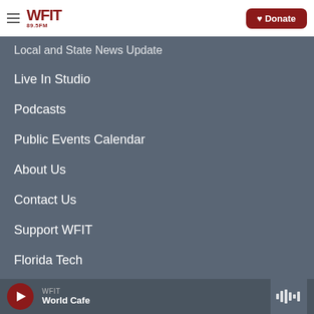WFIT 89.5FM | Donate
Local and State News Update
Live In Studio
Podcasts
Public Events Calendar
About Us
Contact Us
Support WFIT
Florida Tech
WFIT World Cafe